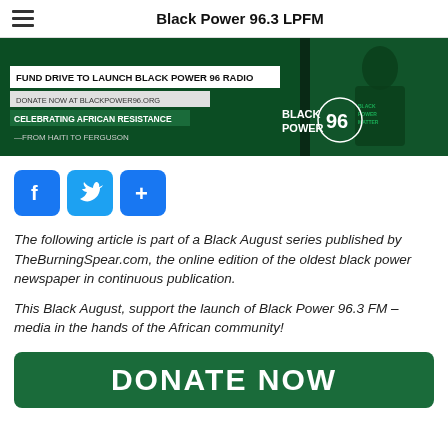Black Power 96.3 LPFM
[Figure (photo): Banner image for Black Power 96 Radio fund drive. Dark green background with text: 'FUND DRIVE TO LAUNCH BLACK POWER 96 RADIO', 'DONATE NOW AT BLACKPOWER96.ORG', 'CELEBRATING AFRICAN RESISTANCE — FROM HAITI TO FERGUSON'. Black Power 96 logo on right side. Background shows person wearing 'Black Power Matter' shirt.]
[Figure (infographic): Three social media share buttons: Facebook (blue with f), Twitter (blue with bird), and Share (blue with +)]
The following article is part of a Black August series published by TheBurningSpear.com, the online edition of the oldest black power newspaper in continuous publication.
This Black August, support the launch of Black Power 96.3 FM – media in the hands of the African community!
[Figure (other): Green DONATE NOW button at bottom of page]